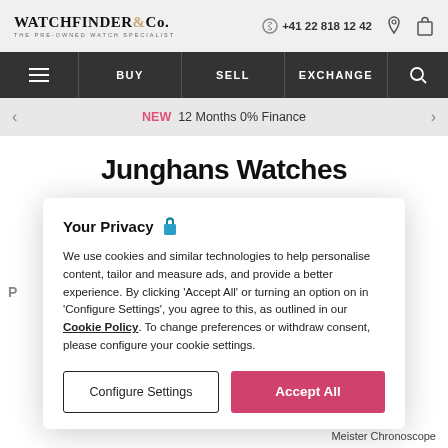WATCHFINDER & Co. THE PRE-OWNED WATCH SPECIALIST | +41 22 818 12 42
BUY | SELL | EXCHANGE
NEW 12 Months 0% Finance
Junghans Watches
Your Privacy
We use cookies and similar technologies to help personalise content, tailor and measure ads, and provide a better experience. By clicking 'Accept All' or turning an option on in 'Configure Settings', you agree to this, as outlined in our Cookie Policy. To change preferences or withdraw consent, please configure your cookie settings.
Configure Settings | Accept All
Meister Chronoscope